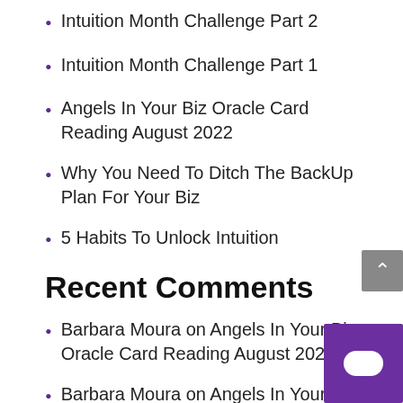Intuition Month Challenge Part 2
Intuition Month Challenge Part 1
Angels In Your Biz Oracle Card Reading August 2022
Why You Need To Ditch The BackUp Plan For Your Biz
5 Habits To Unlock Intuition
Recent Comments
Barbara Moura on Angels In Your Biz Oracle Card Reading August 2022
Barbara Moura on Angels In Your Biz Oracle Card Reading August 2022
emilyaarons on Angels In Your Biz Orac…